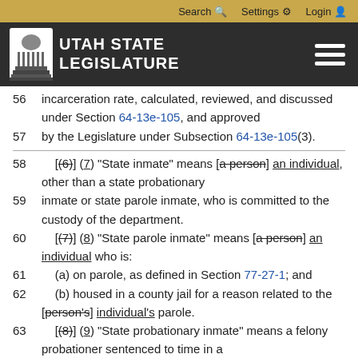Search  Settings  Login
[Figure (logo): Utah State Legislature logo with capitol building icon and navigation bar]
56    incarceration rate, calculated, reviewed, and discussed under Section 64-13e-105, and approved
57    by the Legislature under Subsection 64-13e-105(3).
58        [(6)] (7) "State inmate" means [a person] an individual, other than a state probationary
59    inmate or state parole inmate, who is committed to the custody of the department.
60        [(7)] (8) "State parole inmate" means [a person] an individual who is:
61        (a) on parole, as defined in Section 77-27-1; and
62        (b) housed in a county jail for a reason related to the [person's] individual's parole.
63        [(8)] (9) "State probationary inmate" means a felony probationer sentenced to time in a
64    county jail under Subsection 77-18-1(8).
65        [(9)] (10) "Treatment program" means:
66    (a) an alcohol treatment program;